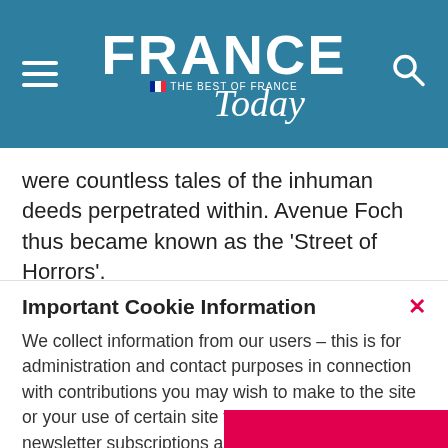[Figure (logo): France Today magazine logo with hamburger menu and search icon on teal/blue background]
were countless tales of the inhuman deeds perpetrated within. Avenue Foch thus became known as the 'Street of Horrors'.
Important Cookie Information
We collect information from our users – this is for administration and contact purposes in connection with contributions you may wish to make to the site or your use of certain site features such as newsletter subscriptions and property enquiries.
View cookie policy